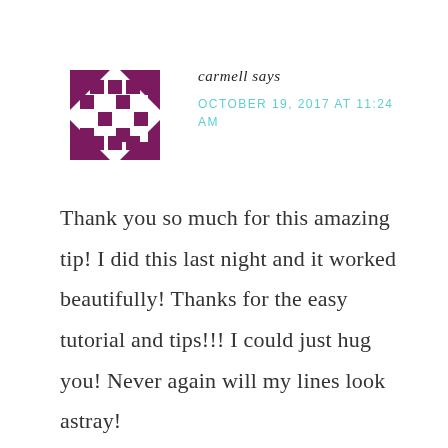[Figure (illustration): Decorative avatar icon made of purple/maroon geometric quilt-like pattern with diamond and square shapes]
carmell says
OCTOBER 19, 2017 AT 11:24 AM
Thank you so much for this amazing tip! I did this last night and it worked beautifully! Thanks for the easy tutorial and tips!!! I could just hug you! Never again will my lines look astray!